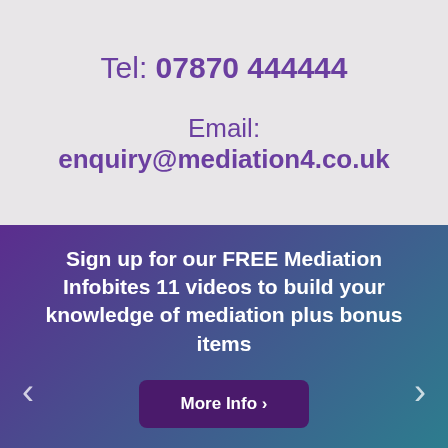Tel: 07870 444444
Email: enquiry@mediation4.co.uk
Sign up for our FREE Mediation Infobites 11 videos to build your knowledge of mediation plus bonus items
More Info >